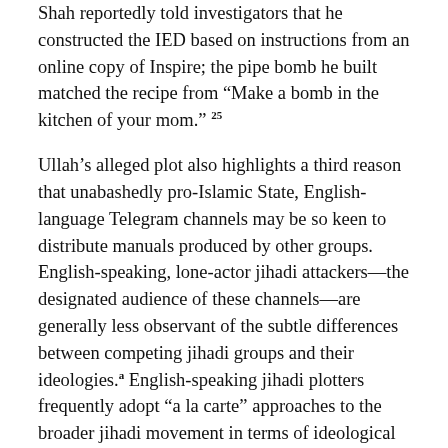Shah reportedly told investigators that he constructed the IED based on instructions from an online copy of Inspire; the pipe bomb he built matched the recipe from “Make a bomb in the kitchen of your mom.” 25
Ullah’s alleged plot also highlights a third reason that unabashedly pro-Islamic State, English-language Telegram channels may be so keen to distribute manuals produced by other groups. English-speaking, lone-actor jihadi attackers—the designated audience of these channels—are generally less observant of the subtle differences between competing jihadi groups and their ideologies.a English-speaking jihadi plotters frequently adopt “a la carte” approaches to the broader jihadi movement in terms of ideological matters, selecting what they see as personally relevant details from a variety of influences that are intrinsically competitive, unbeknownst to them. 26 In this light, attack-planning instructions may be even more easily extractable from the groups that produce them; attackers who seek to maximize damage will utilize any material that helps them achieve this aim, regardless of its author.